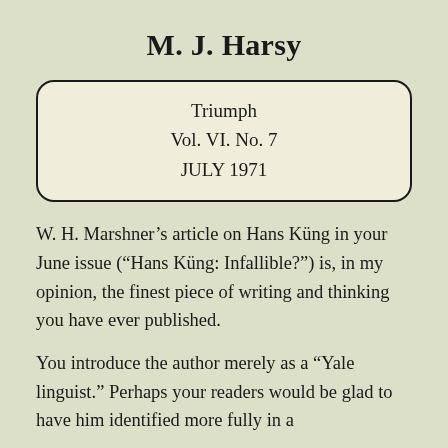M. J. Harsy
Triumph
Vol. VI. No. 7
JULY 1971
W. H. Marshner’s article on Hans Küng in your June issue (“Hans Küng: Infallible?”) is, in my opinion, the finest piece of writing and thinking you have ever published.
You introduce the author merely as a “Yale linguist.” Perhaps your readers would be glad to have him identified more fully in a